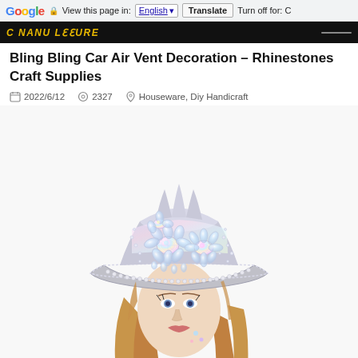Google  View this page in: English  Translate  Turn off for: C
C nanu Lasure
Bling Bling Car Air Vent Decoration – Rhinestones Craft Supplies
2022/6/12  2327  Houseware, Diy Handicraft
[Figure (photo): A woman wearing a rhinestone-encrusted military-style flat cap decorated with large floral crystal clusters in iridescent aurora borealis stones, with rhinestone trim along the brim. She has long auburn hair and face gems.]